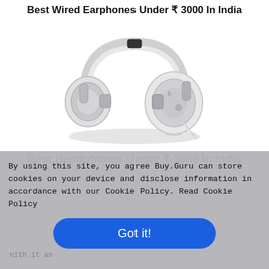Best Wired Earphones Under ₹ 3000 In India
[Figure (photo): White over-ear wired headphones on white background]
Best Headphones Under ₹ 3000 In India
By using this site, you agree Buy.Guru can store cookies on your device and disclose information in accordance with our Cookie Policy. Read Cookie Policy
Got it!